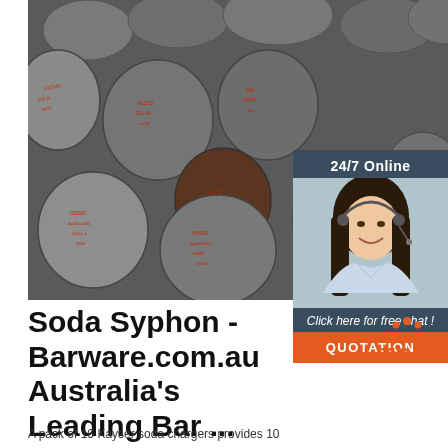[Figure (photo): Stacked steel round bars/rods with red markings on ends, viewed from the end, showing multiple cylindrical bars piled together.]
[Figure (photo): Customer service representative woman with headset smiling, shown in sidebar with '24/7 Online' header and 'Click here for free chat!' and 'QUOTATION' button below.]
Soda Syphon - Barware.com.au Australia's Leading Bar ...
[Figure (logo): TOP badge logo with orange dots arranged in a crown/arc pattern above the word TOP in orange text.]
A pack of 10 Kayser soda chargers provides 10